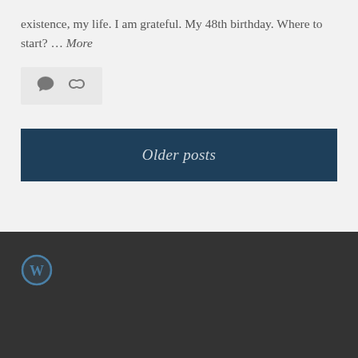existence, my life. I am grateful. My 48th birthday. Where to start? … More
[Figure (other): Post meta bar with comment bubble icon and chain/link icon on light gray background]
Older posts
WordPress logo icon in footer dark bar